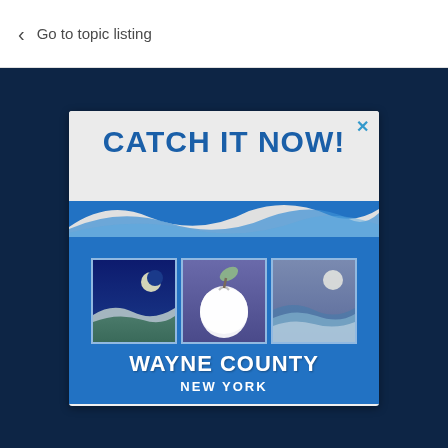Go to topic listing
[Figure (logo): Wayne County New York promotional ad with 'CATCH IT NOW!' heading and three illustrated panels showing night landscape, apple, and water scene, with Wayne County New York branding below.]